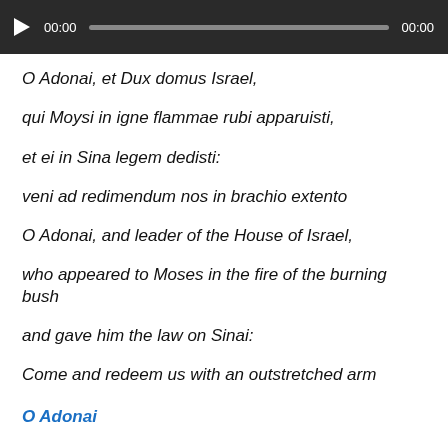[Figure (other): Audio player bar with play button, timestamp 00:00, progress bar, and end timestamp 00:00]
O Adonai, et Dux domus Israel,
qui Moysi in igne flammae rubi apparuisti,
et ei in Sina legem dedisti:
veni ad redimendum nos in brachio extento
O Adonai, and leader of the House of Israel,
who appeared to Moses in the fire of the burning bush
and gave him the law on Sinai:
Come and redeem us with an outstretched arm
O Adonai